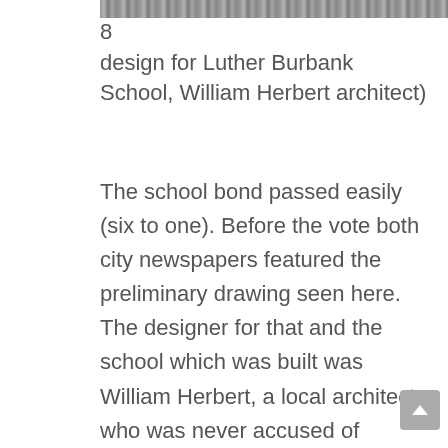[Figure (photo): Partial view of a black and white architectural drawing or photograph strip at the top of the page, showing a building design with text partially visible.]
8
design for Luther Burbank School, William Herbert architect)
The school bond passed easily (six to one). Before the vote both city newspapers featured the preliminary drawing seen here. The designer for that and the school which was built was William Herbert, a local architect who was never accused of originality. Almost everything he produced was in this Spanish Colonial style; the final design was in the Streamline/PWA Moderne style introduced in Santa Rosa years before by